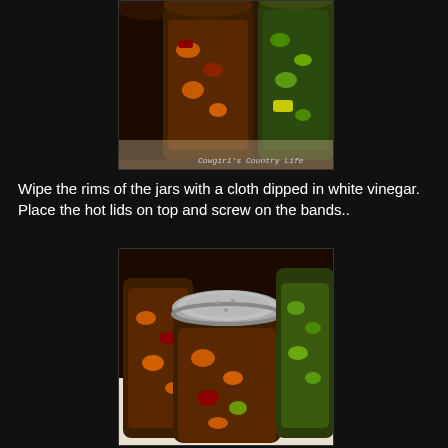[Figure (photo): Canning jars filled with mixed pickled vegetables (dark sauce, peppers, green vegetables) viewed from above on a light surface. Watermark reads Cowgirl's Country Life.]
Wipe the rims of the jars with a cloth dipped in white vinegar. Place the hot lids on top and screw on the bands..
[Figure (photo): Multiple canning jars filled with mixed pickled vegetables in dark brine, one jar in foreground has a silver metal lid screwed on, others open showing colorful vegetables inside.]